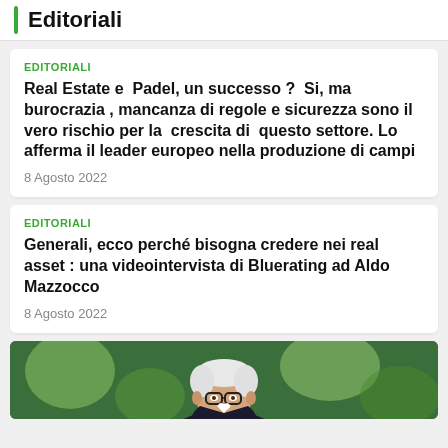Editoriali
EDITORIALI
Real Estate e Padel, un successo ? Si, ma burocrazia , mancanza di regole e sicurezza sono il vero rischio per la crescita di questo settore. Lo afferma il leader europeo nella produzione di campi
8 Agosto 2022
EDITORIALI
Generali, ecco perché bisogna credere nei real asset : una videointervista di Bluerating ad Aldo Mazzocco
8 Agosto 2022
[Figure (photo): Photo of a white-haired man wearing glasses, with a colorful painted background behind him]